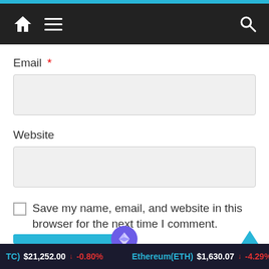Navigation bar with home icon, menu icon, and search icon
Email *
Website
Save my name, email, and website in this browser for the next time I comment.
TC) $21,252.00 ↓ -0.80%   Ethereum(ETH) $1,630.07 ↓ -4.29%